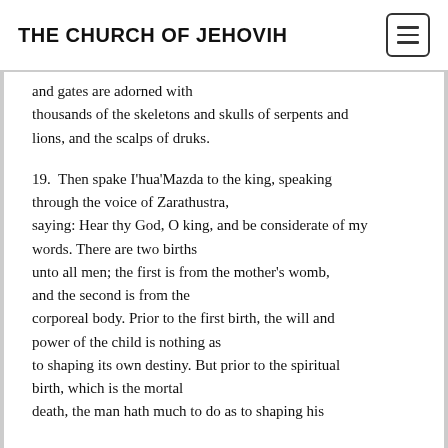THE CHURCH OF JEHOVIH
and gates are adorned with thousands of the skeletons and skulls of serpents and lions, and the scalps of druks.
19. Then spake I'hua'Mazda to the king, speaking through the voice of Zarathustra, saying: Hear thy God, O king, and be considerate of my words. There are two births unto all men; the first is from the mother's womb, and the second is from the corporeal body. Prior to the first birth, the will and power of the child is nothing as to shaping its own destiny. But prior to the spiritual birth, which is the mortal death, the man hath much to do as to shaping his